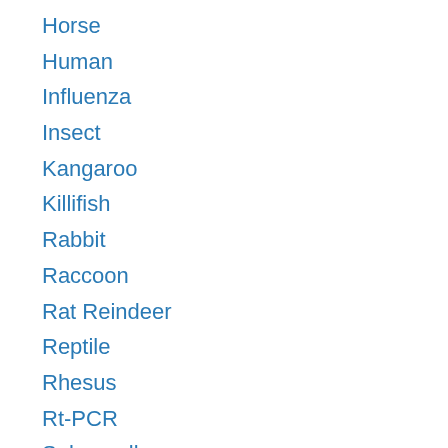Horse
Human
Influenza
Insect
Kangaroo
Killifish
Rabbit
Raccoon
Rat Reindeer
Reptile
Rhesus
Rt-PCR
Salmonella
Sheep
The draft genome of Staphylococcus warperi